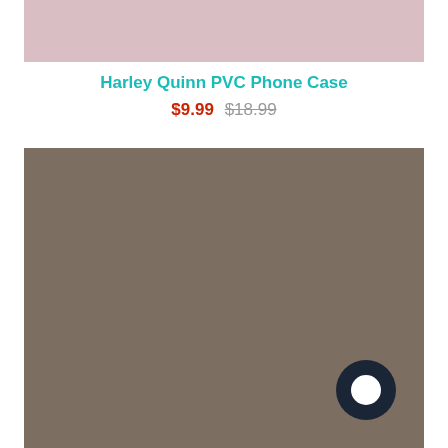[Figure (photo): Top portion of a product image showing a pink/mauve background, partially visible at the top of the page.]
Harley Quinn PVC Phone Case
$9.99 $18.99
[Figure (photo): Large product image area with a brownish-taupe/gray background color, taking up the lower portion of the page. A dark navy circular chat widget icon is visible in the lower-right corner.]